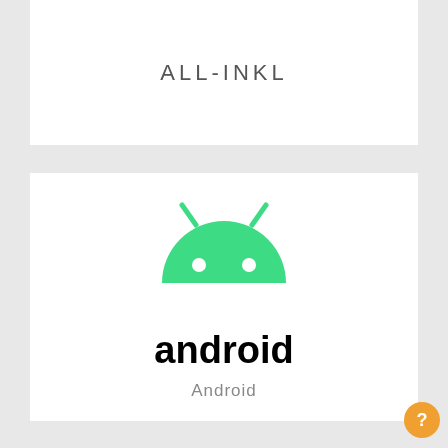ALL-INKL
[Figure (logo): Android robot logo (green robot head with antennae and eyes) with 'android' text beneath it in bold black sans-serif font]
Android